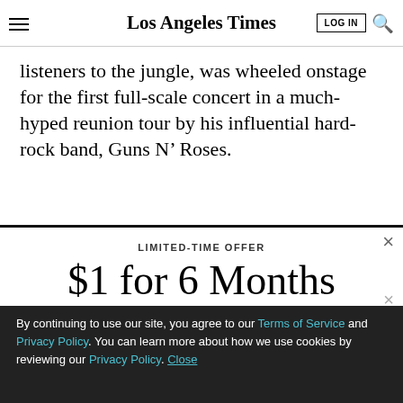Los Angeles Times
listeners to the jungle, was wheeled onstage for the first full-scale concert in a much-hyped reunion tour by his influential hard-rock band, Guns N’ Roses.
LIMITED-TIME OFFER
$1 for 6 Months
SUBSCRIBE NOW
By continuing to use our site, you agree to our Terms of Service and Privacy Policy. You can learn more about how we use cookies by reviewing our Privacy Policy. Close